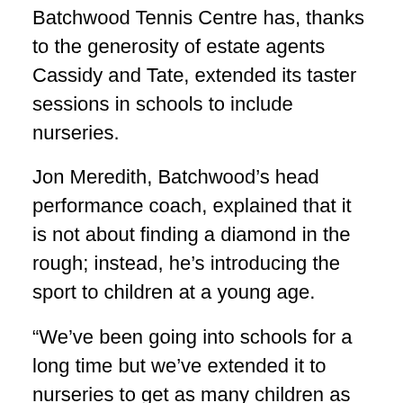Batchwood Tennis Centre has, thanks to the generosity of estate agents Cassidy and Tate, extended its taster sessions in schools to include nurseries.
Jon Meredith, Batchwood’s head performance coach, explained that it is not about finding a diamond in the rough; instead, he’s introducing the sport to children at a young age.
“We’ve been going into schools for a long time but we’ve extended it to nurseries to get as many children as possible into tennis,” he said.
“All sports are being introduced as early as possible so we have to as well. It isn’t about how good they are, it’s about them having a go and hopefully enjoying it and wanting to do it again. Then we can teach them.”
Cassidy and Tate have been sponsoring Batchwood’s high performance tennis pathway since the club re-